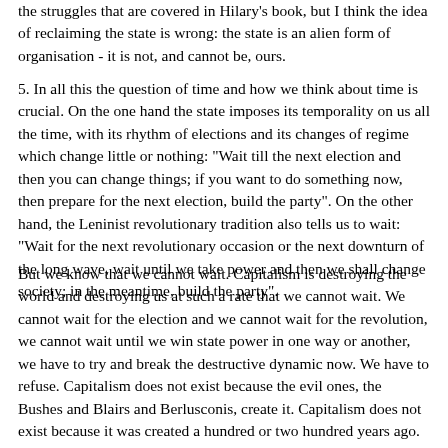the struggles that are covered in Hilary's book, but I think the idea of reclaiming the state is wrong: the state is an alien form of organisation - it is not, and cannot be, ours.
5. In all this the question of time and how we think about time is crucial. On the one hand the state imposes its temporality on us all the time, with its rhythm of elections and its changes of regime which change little or nothing: "Wait till the next election and then you can change things; if you want to do something now, then prepare for the next election, build the party". On the other hand, the Leninist revolutionary tradition also tells us to wait: "Wait for the next revolutionary occasion or the next downturn of the long wave, wait until we take power and then we shall change society; in the meantime, build the party".
But we know that we cannot wait. Capitalism is destroying the world and destroying us at such a rate that we cannot wait. We cannot wait for the election and we cannot wait for the revolution, we cannot wait until we win state power in one way or another, we have to try and break the destructive dynamic now. We have to refuse. Capitalism does not exist because the evil ones, the Bushes and Blairs and Berlusconis, create it. Capitalism does not exist because it was created a hundred or two hundred years ago. Capitalism exists today only because we created it today. If we do not create capitalism tomorrow, then it will not exist tomorrow.